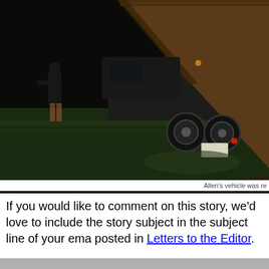[Figure (photo): Nighttime photo showing a vehicle with a large wooden/flat load tilted at an angle, partially off the road onto grass. A person is visible standing in the background on the left. A trailer with wheels is visible, along with a license plate. The scene is lit by vehicle lights against a dark background.]
Allen's vehicle was re
If you would like to comment on this story, we'd love to include the story subject in the subject line of your ema posted in Letters to the Editor.